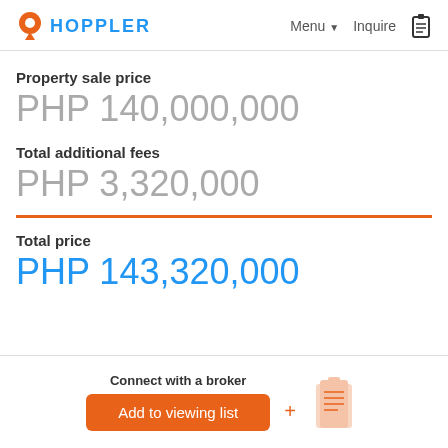HOPPLER | Menu ▾  Inquire
Property sale price
PHP 140,000,000
Total additional fees
PHP 3,320,000
Total price
PHP 143,320,000
Connect with a broker
Add to viewing list